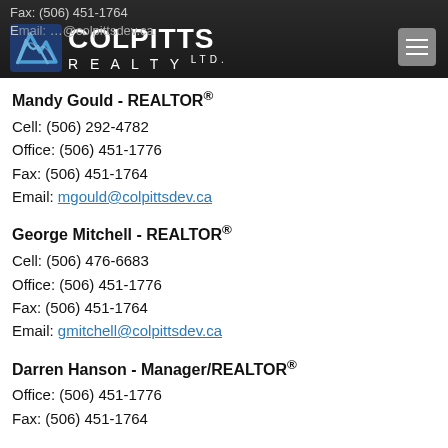[Figure (logo): Colpitts Realty Ltd. logo with blue diagonal checkmark icon on dark header bar]
Mandy Gould - REALTOR®
Cell: (506) 292-4782
Office: (506) 451-1776
Fax: (506) 451-1764
Email: mgould@colpittsdev.ca
George Mitchell - REALTOR®
Cell: (506) 476-6683
Office: (506) 451-1776
Fax: (506) 451-1764
Email: gmitchell@colpittsdev.ca
Darren Hanson - Manager/REALTOR®
Office: (506) 451-1776
Fax: (506) 451-1764